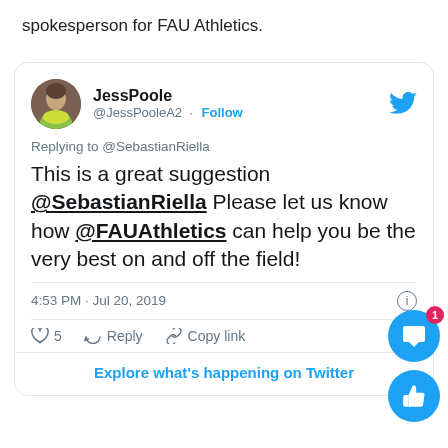spokesperson for FAU Athletics.
[Figure (screenshot): Screenshot of a tweet by JessPoole (@JessPooleA2) replying to @SebastianRiella: 'This is a great suggestion @SebastianRiella Please let us know how @FAUAthletics can help you be the very best on and off the field!' Posted 4:53 PM · Jul 20, 2019. 5 likes. Includes Reply and Copy link actions, and Explore what's happening on Twitter button.]